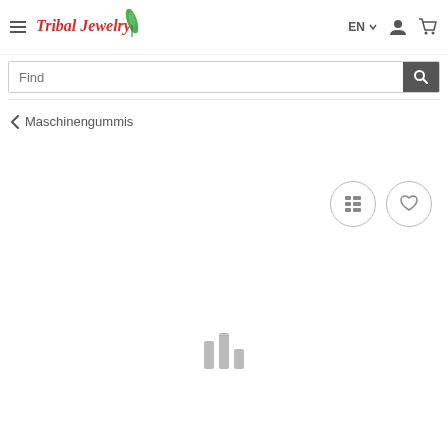[Figure (screenshot): Website header with hamburger menu, Tribal Jewelry logo with decorative feather icon, language selector EN with dropdown arrow, user account icon, and shopping cart icon]
[Figure (screenshot): Search bar with placeholder text 'Find' and a dark grey search button with magnifying glass icon]
< Maschinengummis
[Figure (infographic): Two circular outline buttons: one with a list/grid icon, one with a heart/wishlist icon]
[Figure (infographic): Three vertical loading bars of varying heights in light grey, indicating content is loading]